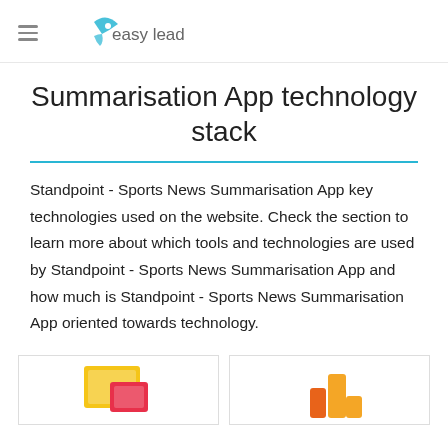easy leadz
Summarisation App technology stack
Standpoint - Sports News Summarisation App key technologies used on the website. Check the section to learn more about which tools and technologies are used by Standpoint - Sports News Summarisation App and how much is Standpoint - Sports News Summarisation App oriented towards technology.
[Figure (illustration): Two overlapping rectangles icon (yellow and red/pink) resembling a tablet/screen stack]
[Figure (illustration): Bar chart icon in orange/red tones (Google Analytics style logo)]